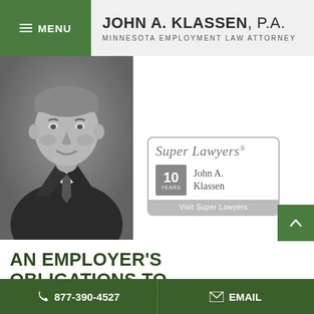MENU | JOHN A. KLASSEN, P.A. MINNESOTA EMPLOYMENT LAW ATTORNEY
[Figure (photo): Black and white professional headshot of John A. Klassen, a middle-aged man in a suit and striped tie, smiling]
[Figure (logo): Super Lawyers badge: 10 Years - John A. Klassen - Visit Super Lawyers]
AN EMPLOYER'S OBLIGATIONS TO AVOID DISABILITY DISCRIMINATION
By John A. Klassen, P.A. | Jul 26
877-390-4527 | EMAIL